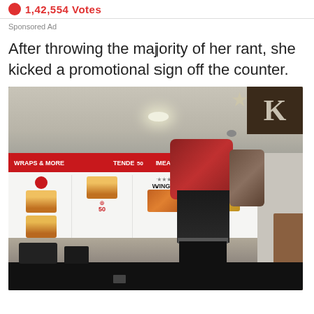1,42,554 Votes
Sponsored Ad
After throwing the majority of her rant, she kicked a promotional sign off the counter.
[Figure (photo): Photo inside a KFC restaurant showing a person from behind wearing black shorts and carrying a large red backpack and stuffed belongings, standing behind the service counter with the KFC menu boards visible in the background.]